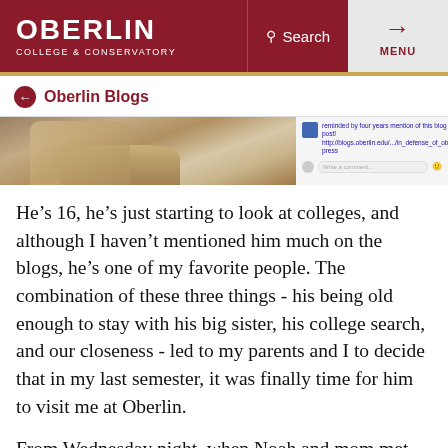OBERLIN COLLEGE & CONSERVATORY — Search — MENU
[Figure (photo): Header image showing a person with blonde hair and a partial Facebook social media panel on the right side]
← Oberlin Blogs
He's 16, he's just starting to look at colleges, and although I haven't mentioned him much on the blogs, he's one of my favorite people. The combination of these three things - his being old enough to stay with his big sister, his college search, and our closeness - led to my parents and I to decide that in my last semester, it was finally time for him to visit me at Oberlin.
From Wednesday night, when Noah and mom met up with me at the Feve, to Saturday night, when they headed off to a hotel to escape from